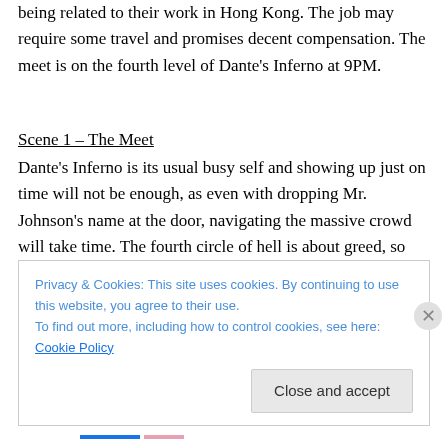being related to their work in Hong Kong. The job may require some travel and promises decent compensation. The meet is on the fourth level of Dante's Inferno at 9PM.
Scene 1 – The Meet
Dante's Inferno is its usual busy self and showing up just on time will not be enough, as even with dropping Mr. Johnson's name at the door, navigating the massive crowd will take time. The fourth circle of hell is about greed, so the room is made to be like distorted opulence. Several meets are already in progress here, but their Mr. Johnson is already at the table and waiting for them when they
Privacy & Cookies: This site uses cookies. By continuing to use this website, you agree to their use.
To find out more, including how to control cookies, see here: Cookie Policy